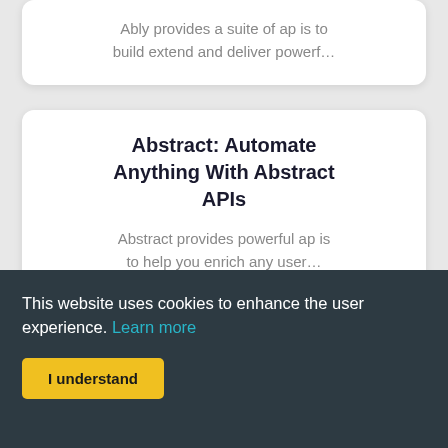Ably provides a suite of ap is to build extend and deliver powerf…
Abstract: Automate Anything With Abstract APIs
Abstract provides powerful ap is to help you enrich any user…
This website uses cookies to enhance the user experience. Learn more
I understand